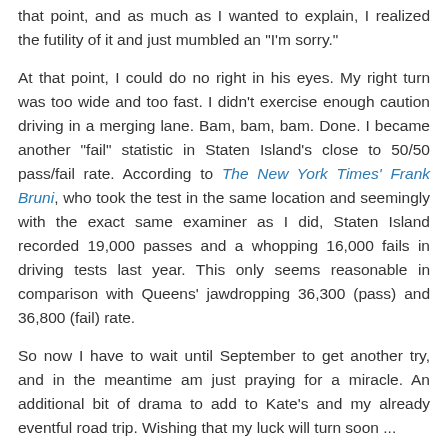that point, and as much as I wanted to explain, I realized the futility of it and just mumbled an "I'm sorry."
At that point, I could do no right in his eyes. My right turn was too wide and too fast. I didn't exercise enough caution driving in a merging lane. Bam, bam, bam. Done. I became another "fail" statistic in Staten Island's close to 50/50 pass/fail rate. According to The New York Times' Frank Bruni, who took the test in the same location and seemingly with the exact same examiner as I did, Staten Island recorded 19,000 passes and a whopping 16,000 fails in driving tests last year. This only seems reasonable in comparison with Queens' jawdropping 36,300 (pass) and 36,800 (fail) rate.
So now I have to wait until September to get another try, and in the meantime am just praying for a miracle. An additional bit of drama to add to Kate's and my already eventful road trip. Wishing that my luck will turn soon ...
[Figure (illustration): A handwritten cursive signature, appearing to start with 'Celine', inside a light-bordered box.]